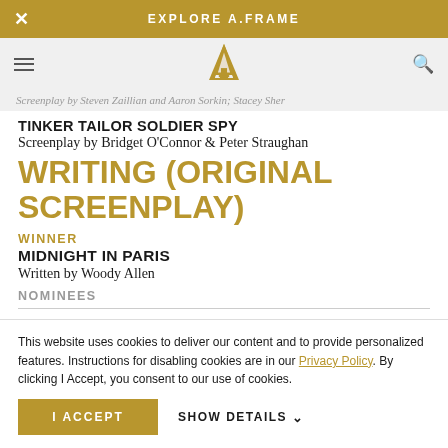EXPLORE A.FRAME
Screenplay by Steven Zaillian and Aaron Sorkin; Stacey Sher
TINKER TAILOR SOLDIER SPY
Screenplay by Bridget O'Connor & Peter Straughan
WRITING (ORIGINAL SCREENPLAY)
WINNER
MIDNIGHT IN PARIS
Written by Woody Allen
NOMINEES
This website uses cookies to deliver our content and to provide personalized features. Instructions for disabling cookies are in our Privacy Policy. By clicking I Accept, you consent to our use of cookies.